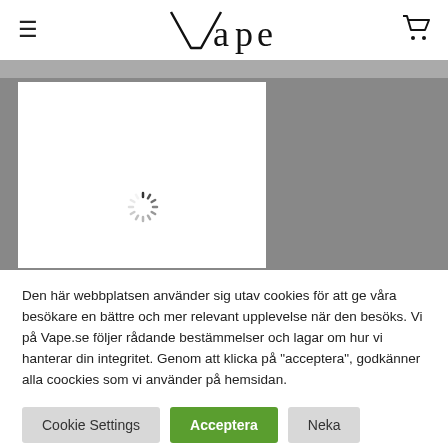Vape
[Figure (screenshot): Website banner area showing a loading spinner over a white content card on a gray background]
Den här webbplatsen använder sig utav cookies för att ge våra besökare en bättre och mer relevant upplevelse när den besöks. Vi på Vape.se följer rådande bestämmelser och lagar om hur vi hanterar din integritet. Genom att klicka på "acceptera", godkänner alla coockies som vi använder på hemsidan.
Cookie Settings
Acceptera
Neka